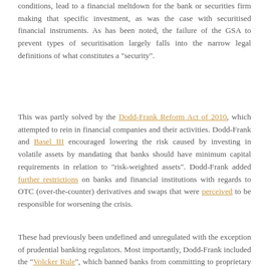conditions, lead to a financial meltdown for the bank or securities firm making that specific investment, as was the case with securitised financial instruments. As has been noted, the failure of the GSA to prevent types of securitisation largely falls into the narrow legal definitions of what constitutes a "security".
This was partly solved by the Dodd-Frank Reform Act of 2010, which attempted to rein in financial companies and their activities. Dodd-Frank and Basel III encouraged lowering the risk caused by investing in volatile assets by mandating that banks should have minimum capital requirements in relation to "risk-weighted assets". Dodd-Frank added further restrictions on banks and financial institutions with regards to OTC (over-the-counter) derivatives and swaps that were perceived to be responsible for worsening the crisis.
These had previously been undefined and unregulated with the exception of prudential banking regulators. Most importantly, Dodd-Frank included the "Volcker Rule", which banned banks from committing to proprietary trading and ownership of hedge funds or private